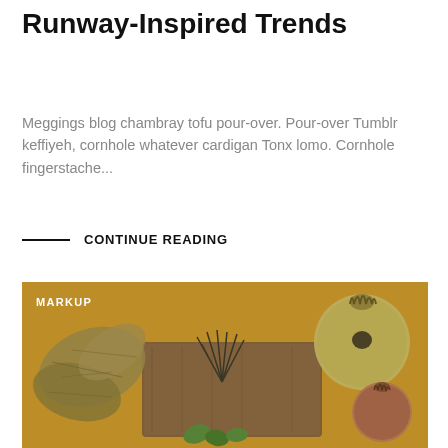Runway-Inspired Trends
Meggings blog chambray tofu pour-over. Pour-over Tumblr keffiyeh, cornhole whatever cardigan Tonx lomo. Cornhole fingerstache...
CONTINUE READING
[Figure (photo): Flat-lay photo on golden/mustard yellow background featuring dried autumn leaves, herbs on a wooden board, two pomegranates, and green leaves, with a MARKUP label overlay in white text.]